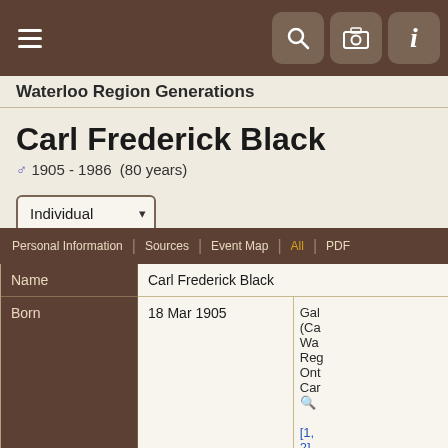Waterloo Region Generations
Carl Frederick Black
♂ 1905 - 1986  (80 years)
Individual (dropdown)
Personal Information | Sources | Event Map | All | PDF
|  |  |  |
| --- | --- | --- |
| Name | Carl Frederick Black |  |
| Born | 18 Mar 1905 | Gal (Ca Wa Reg Ont Car [1, 2] |